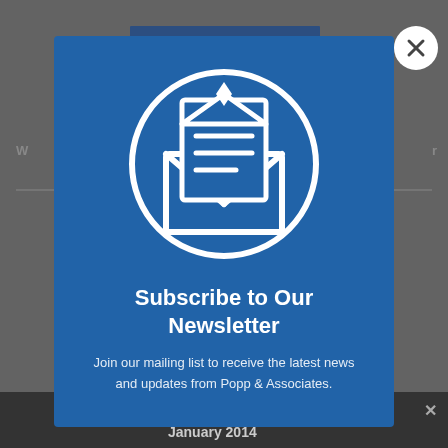[Figure (screenshot): Newsletter subscription modal popup with blue background, envelope icon in a circle, title 'Subscribe to Our Newsletter', and descriptive text. A white close (X) button appears in the top-right corner. Background shows a darkened webpage with a share bar at bottom reading 'Share This' and 'January 2014'.]